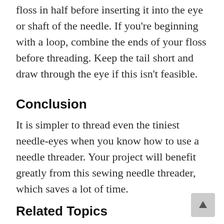floss in half before inserting it into the eye or shaft of the needle. If you're beginning with a loop, combine the ends of your floss before threading. Keep the tail short and draw through the eye if this isn't feasible.
Conclusion
It is simpler to thread even the tiniest needle-eyes when you know how to use a needle threader. Your project will benefit greatly from this sewing needle threader, which saves a lot of time.
Related Topics